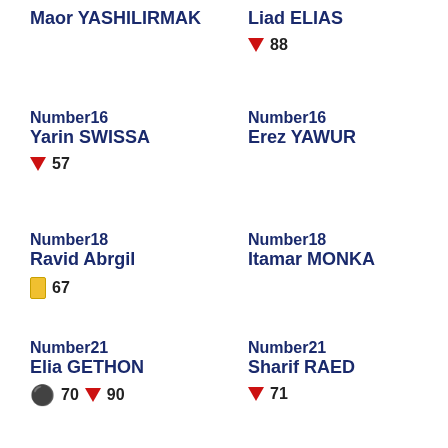Maor YASHILIRMAK
Liad ELIAS
↓ 88
Number16
Yarin SWISSA
↓ 57
Number16
Erez YAWUR
Number18
Ravid Abrgil
🟨 67
Number18
Itamar MONKA
Number21
Elia GETHON
⚽ 70  ↓ 90
Number21
Sharif RAED
↓ 71